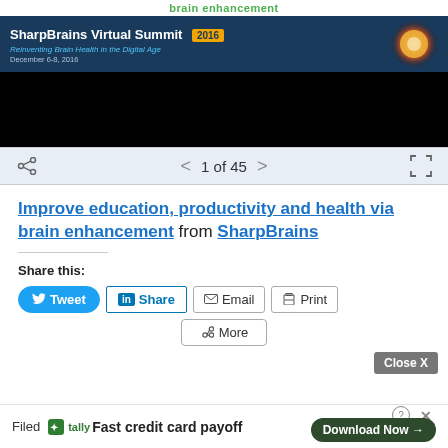brain enhancement
[Figure (screenshot): SharpBrains Virtual Summit 2016 banner with title 'Reinventing Brain Health in the Digital Age', December 6-8 2016, with glowing brain image on right]
[Figure (screenshot): Black video player area]
[Figure (screenshot): Navigation bar with share icon, page indicator '1 of 45' with prev/next arrows, and fullscreen icon]
Improve education, productivity and health via brain enhancement from SharpBrains
Share this:
Tweet  Share  Email  Print  More
Close X
Filed  Fast credit card payoff  Download Now